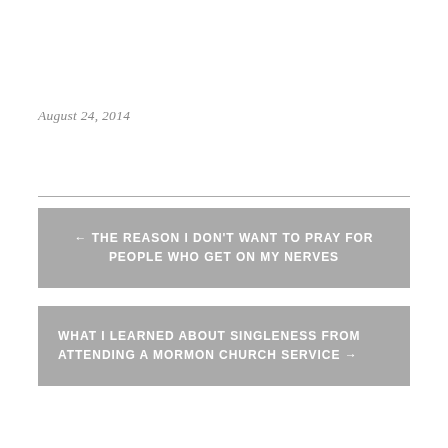August 24, 2014
← THE REASON I DON'T WANT TO PRAY FOR PEOPLE WHO GET ON MY NERVES
WHAT I LEARNED ABOUT SINGLENESS FROM ATTENDING A MORMON CHURCH SERVICE →